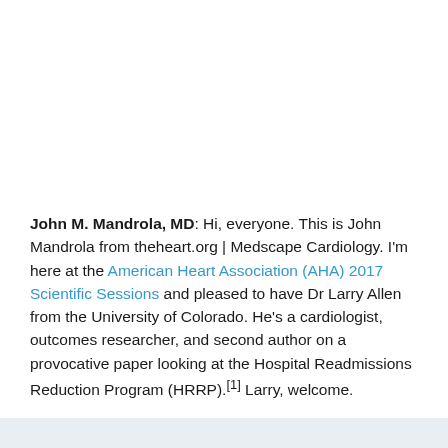John M. Mandrola, MD: Hi, everyone. This is John Mandrola from theheart.org | Medscape Cardiology. I'm here at the American Heart Association (AHA) 2017 Scientific Sessions and pleased to have Dr Larry Allen from the University of Colorado. He's a cardiologist, outcomes researcher, and second author on a provocative paper looking at the Hospital Readmissions Reduction Program (HRRP).[1] Larry, welcome.
Larry A. Allen, MD, MHS: Thanks for having me.